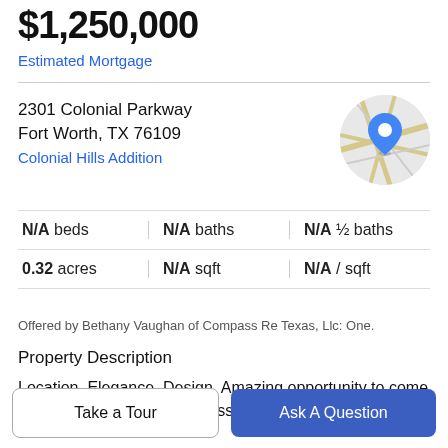$1,250,000
Estimated Mortgage
2301 Colonial Parkway
Fort Worth, TX 76109
Colonial Hills Addition
[Figure (map): Circular map thumbnail with a blue location pin marker and road lines on a gray/beige background.]
| Col1 | Col2 | Col3 |
| --- | --- | --- |
| N/A beds | N/A baths | N/A ½ baths |
| 0.32 acres | N/A sqft | N/A / sqft |
Offered by Bethany Vaughan of Compass Re Texas, Llc: One.
Property Description
Location. Elegance. Design. Amazing opportunity to come build your dream home across the street from Colonial
Take a Tour
Ask A Question